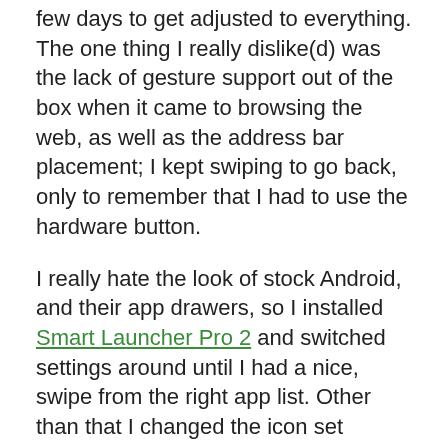few days to get adjusted to everything. The one thing I really dislike(d) was the lack of gesture support out of the box when it came to browsing the web, as well as the address bar placement; I kept swiping to go back, only to remember that I had to use the hardware button.
I really hate the look of stock Android, and their app drawers, so I installed Smart Launcher Pro 2 and switched settings around until I had a nice, swipe from the right app list. Other than that I changed the icon set around (Min), installed the W8.1 keyboard from a.i type, and downloaded my favorite WP ring tones and I was set.
Honestly I made my Android experience as close to WP as possible without using the WP launcher (don't trust the source personally), I just wanted the apps and newer tech. I don't really see too many major differences between the OS's personally, and if Microsoft ever get the app and flagship issues figured out I'll be a happy WP owner